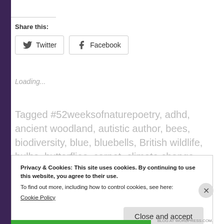Share this:
Twitter  Facebook
Loading...
Tagged #52weeksofnaturepoetry, adhd, ancient woodland, autistic author, bees, biodiversity, blue, bluebells, British wildlife, bulbs, butterflies, carpet, climate change,
Privacy & Cookies: This site uses cookies. By continuing to use this website, you agree to their use.
To find out more, including how to control cookies, see here:
Cookie Policy
Close and accept